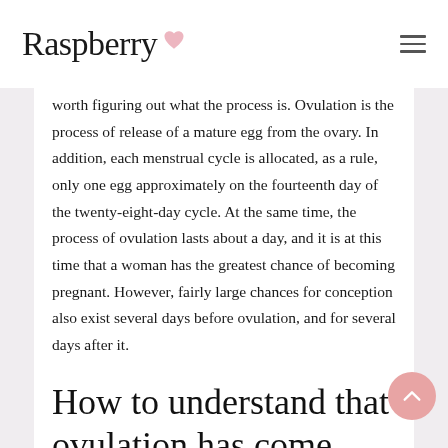Raspberry
worth figuring out what the process is. Ovulation is the process of release of a mature egg from the ovary. In addition, each menstrual cycle is allocated, as a rule, only one egg approximately on the fourteenth day of the twenty-eight-day cycle. At the same time, the process of ovulation lasts about a day, and it is at this time that a woman has the greatest chance of becoming pregnant. However, fairly large chances for conception also exist several days before ovulation, and for several days after it.
How to understand that ovulation has come